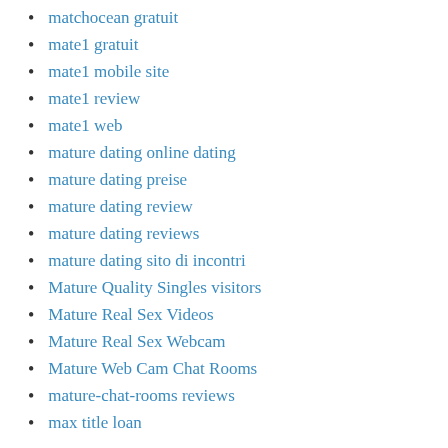matchocean gratuit
mate1 gratuit
mate1 mobile site
mate1 review
mate1 web
mature dating online dating
mature dating preise
mature dating review
mature dating reviews
mature dating sito di incontri
Mature Quality Singles visitors
Mature Real Sex Videos
Mature Real Sex Webcam
Mature Web Cam Chat Rooms
mature-chat-rooms reviews
max title loan